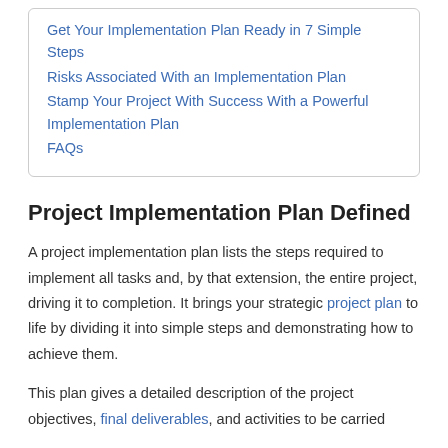Get Your Implementation Plan Ready in 7 Simple Steps
Risks Associated With an Implementation Plan
Stamp Your Project With Success With a Powerful Implementation Plan
FAQs
Project Implementation Plan Defined
A project implementation plan lists the steps required to implement all tasks and, by that extension, the entire project, driving it to completion. It brings your strategic project plan to life by dividing it into simple steps and demonstrating how to achieve them.
This plan gives a detailed description of the project objectives, final deliverables, and activities to be carried out to accomplish the project. Let all it comprising